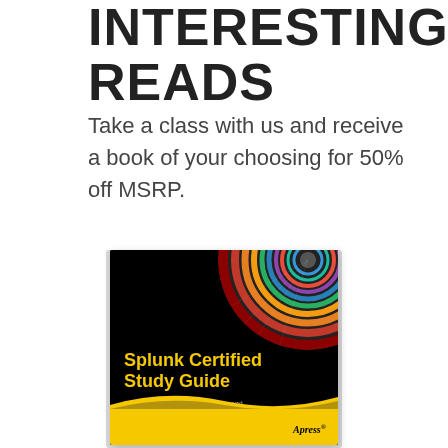INTERESTING READS
Take a class with us and receive a book of your choosing for 50% off MSRP.
[Figure (photo): Book cover of 'Splunk Certified Study Guide' by Deep Mehta, published by Apress. Black cover with colorful circular/spiral graphic at top right. Subtitle: Prepare for the User, Power User, and Enterprise Admin Certifications. Yellow bottom band with Apress logo.]